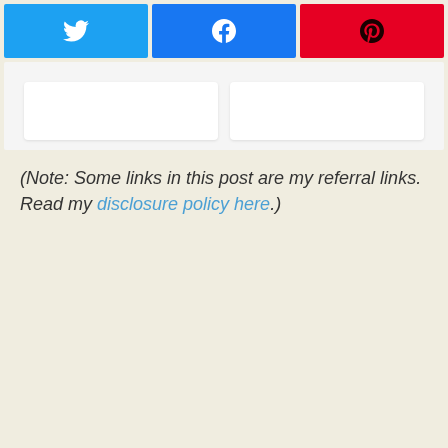[Figure (screenshot): Three social share buttons: Twitter (blue), Facebook (blue), Pinterest (red)]
[Figure (screenshot): Two white card blocks on a light gray background, partially visible]
(Note: Some links in this post are my referral links. Read my disclosure policy here.)